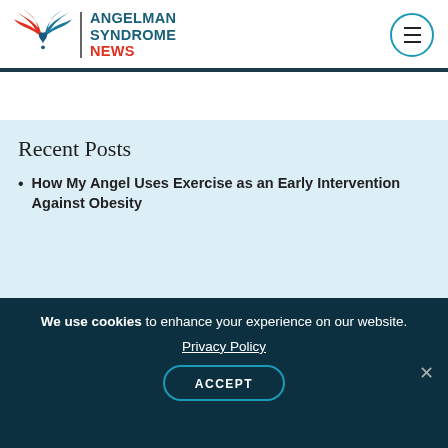ANGELMAN SYNDROME NEWS
Recent Posts
How My Angel Uses Exercise as an Early Intervention Against Obesity
We use cookies to enhance your experience on our website. Privacy Policy ACCEPT